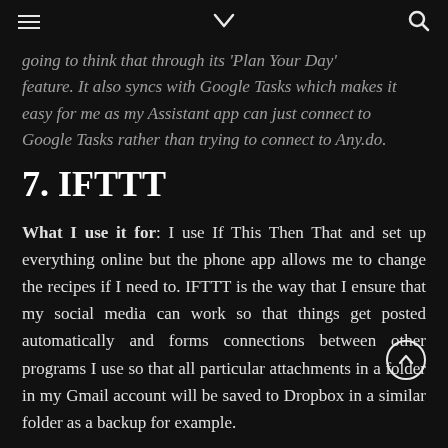≡  ∨  🔍
going to think that through its 'Plan Your Day' feature. It also syncs with Google Tasks which makes it easy for me as my Assistant app can just connect to Google Tasks rather than trying to connect to Any.do.
7. IFTTT
What I use it for: I use If This Then That and set up everything online but the phone app allows me to change the recipes if I need to. IFTTT is the way that I ensure that my social media can work so that things get posted automatically and forms connections between other programs I use so that all particular attachments in a folder in my Gmail account will be saved to Dropbox in a similar folder as a backup for example.
8. Camera